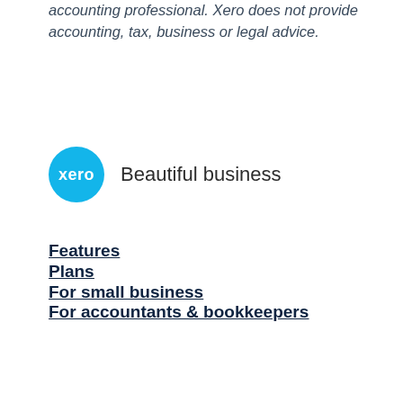accounting professional. Xero does not provide accounting, tax, business or legal advice.
[Figure (logo): Xero logo: teal circle with 'xero' text in white, followed by 'Beautiful business' tagline]
Features
Plans
For small business
For accountants & bookkeepers